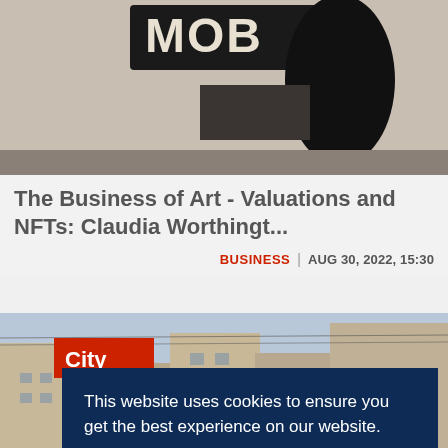[Figure (photo): A silhouette of a person standing in front of a MOB sign/artwork in what appears to be a gallery or museum]
The Business of Art - Valuations and NFTs: Claudia Worthingt...
BUSINESS | AUG 30, 2022, 15:30
[Figure (photo): Street scene in a city, with a red City label badge, buildings and buses visible, partially obscured by a cookie consent overlay]
This website uses cookies to ensure you get the best experience on our website. Learn more
Decline   Allow cookies